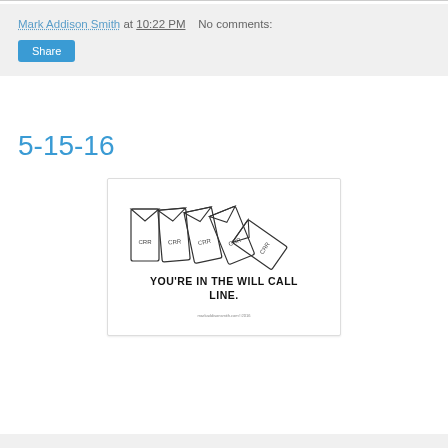Mark Addison Smith at 10:22 PM   No comments:
Share
5-15-16
[Figure (illustration): Cartoon illustration showing five panels of what appear to be folders or envelopes labeled 'CRR', each progressively more bent/worn, with the caption 'YOU'RE IN THE WILL CALL LINE.' in bold block letters beneath.]